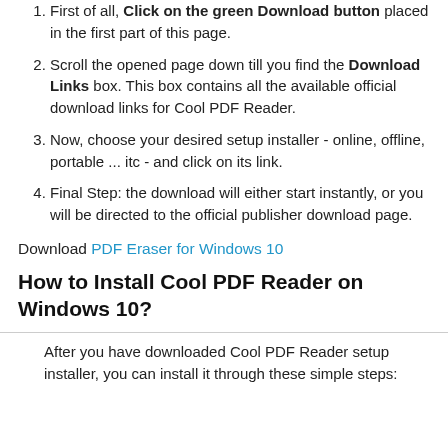First of all, Click on the green Download button placed in the first part of this page.
Scroll the opened page down till you find the Download Links box. This box contains all the available official download links for Cool PDF Reader.
Now, choose your desired setup installer - online, offline, portable ... itc - and click on its link.
Final Step: the download will either start instantly, or you will be directed to the official publisher download page.
Download PDF Eraser for Windows 10
How to Install Cool PDF Reader on Windows 10?
After you have downloaded Cool PDF Reader setup installer, you can install it through these simple steps: